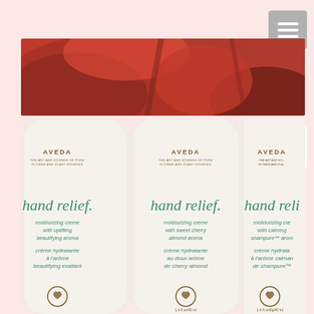[Figure (photo): Red floral banner image at the top of the page]
[Figure (photo): Three Aveda Hand Relief moisturizing creme tubes side by side. Left tube: 'hand relief. moisturizing creme with uplifting beautifying aroma / crème hydratante à l'arôme beautifying exaltant'. Middle tube: 'hand relief. moisturizing creme with sweet cherry almond aroma / crème hydratante au doux arôme de cherry almond'. Right tube (partially visible): 'hand relief. moisturizing cre... with calming shampure aroma / crème hydrata... à l'arôme calman... de shampure'. All tubes show AVEDA logo and a heart-in-hand symbol at the bottom.]